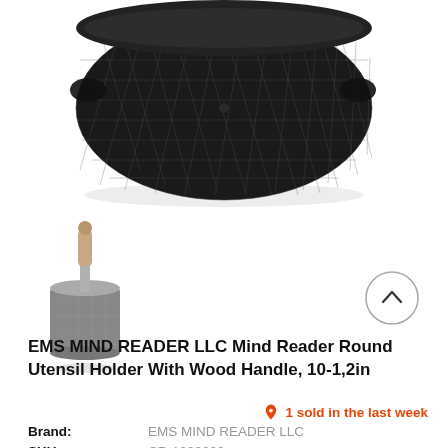[Figure (photo): Close-up top view of a black mesh round utensil holder product on white background]
[Figure (photo): Thumbnail side view of the Mind Reader Round Utensil Holder with wood handle, showing mesh cylinder and wooden handle on top]
[Figure (illustration): Circular navigation arrow button (chevron up) for scrolling through product images]
EMS MIND READER LLC Mind Reader Round Utensil Holder With Wood Handle, 10-1,2in
1 sold in the last week
| Brand: | EMS MIND READER LLC |
| --- | --- |
SKU: